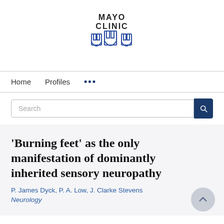[Figure (logo): Mayo Clinic logo with shield icons and text 'MAYO CLINIC']
Home   Profiles   ...
Search
'Burning feet' as the only manifestation of dominantly inherited sensory neuropathy
P. James Dyck, P. A. Low, J. Clarke Stevens
Neurology